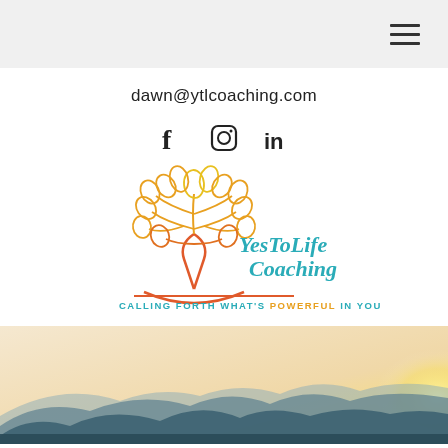[hamburger menu icon]
dawn@ytlcoaching.com
[Figure (logo): Social media icons: Facebook (f), Instagram (camera), LinkedIn (in)]
[Figure (logo): YesToLife Coaching logo with tree illustration and tagline: CALLING FORTH WHAT'S POWERFUL IN YOU]
[Figure (photo): Mountain landscape with warm sunset/sunrise light, silhouetted mountain ridges against a glowing sky]